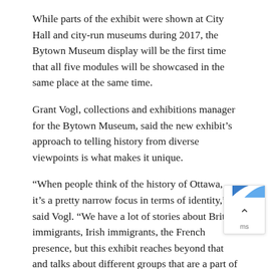While parts of the exhibit were shown at City Hall and city-run museums during 2017, the Bytown Museum display will be the first time that all five modules will be showcased in the same place at the same time.
Grant Vogl, collections and exhibitions manager for the Bytown Museum, said the new exhibit's approach to telling history from diverse viewpoints is what makes it unique.
“When people think of the history of Ottawa, it’s a pretty narrow focus in terms of identity,” said Vogl. “We have a lot of stories about British immigrants, Irish immigrants, the French presence, but this exhibit reaches beyond that and talks about different groups that are a part of the city now and shows the multiculturalism of Ottawa.”
Through the Eyes of Community was developed by the [City] of Ottawa, with funding from the federal Department o[f] Canadian Heritage and the Museums Assistance Program...